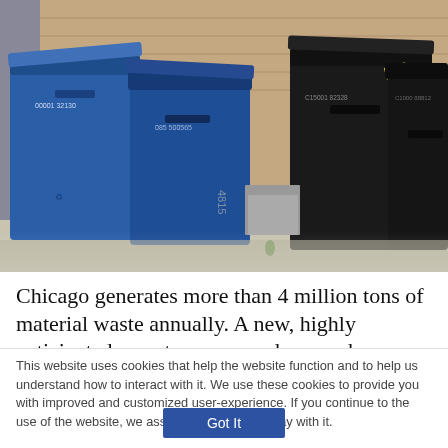[Figure (photo): Photograph of blue and black wheeled trash/recycling bins lined up against a brick wall on a concrete surface. Blue recycling bins on the left, large black garbage bins on the right. Serial numbers visible on bins.]
Chicago generates more than 4 million tons of material waste annually. A new, highly anticipated report recommends a number of...
This website uses cookies that help the website function and to help us understand how to interact with it. We use these cookies to provide you with improved and customized user-experience. If you continue to the use of the website, we assume that you are okay with it.
Got It